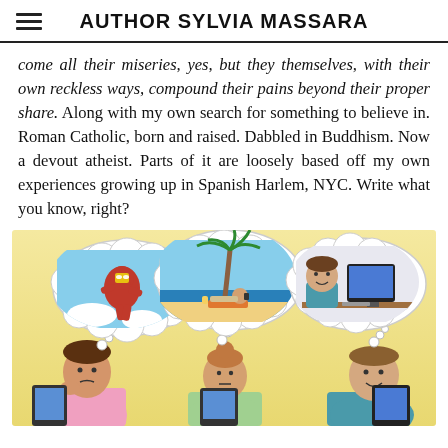AUTHOR SYLVIA MASSARA
come all their miseries, yes, but they themselves, with their own reckless ways, compound their pains beyond their proper share. Along with my own search for something to believe in. Roman Catholic, born and raised. Dabbled in Buddhism. Now a devout atheist. Parts of it are loosely based off my own experiences growing up in Spanish Harlem, NYC. Write what you know, right?
[Figure (illustration): Cartoon illustration of three office workers sitting at computers, each with a thought bubble above their head. Left worker (man, bored expression) thinks of Iron Man flying. Middle worker (woman with bun, neutral expression) thinks of a woman relaxing on a beach under a palm tree. Right worker (man, smiling) thinks of himself at a computer.]